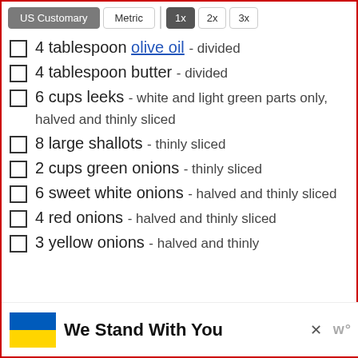4 tablespoon olive oil - divided
4 tablespoon butter - divided
6 cups leeks - white and light green parts only, halved and thinly sliced
8 large shallots - thinly sliced
2 cups green onions - thinly sliced
6 sweet white onions - halved and thinly sliced
4 red onions - halved and thinly sliced
3 yellow onions - halved and thinly